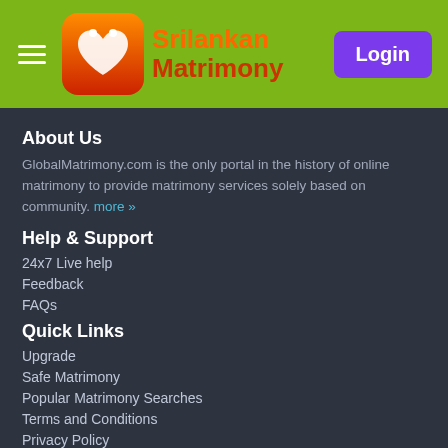SriLankan Matrimony — Login
About Us
GlobalMatrimony.com is the only portal in the history of online matrimony to provide matrimony services solely based on community. more »
Help & Support
24x7 Live help
Feedback
FAQs
Quick Links
Upgrade
Safe Matrimony
Popular Matrimony Searches
Terms and Conditions
Privacy Policy